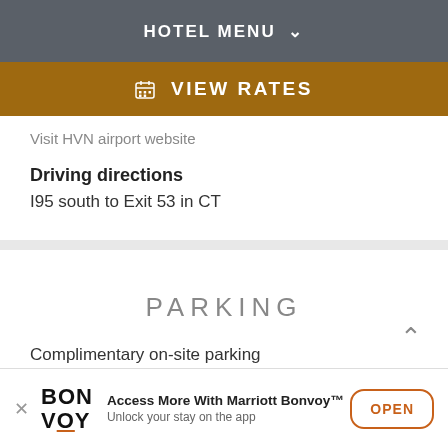HOTEL MENU
VIEW RATES
Visit HVN airport website
Driving directions
I95 south to Exit 53 in CT
PARKING
Complimentary on-site parking
Access More With Marriott Bonvoy™ Unlock your stay on the app